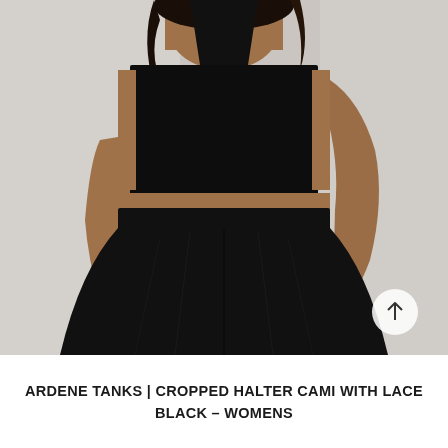[Figure (photo): A woman wearing a black cropped halter cami top and a black pleated skirt. The model is photographed from the torso up against a light grey background. She has dark curly hair and a tattoo on her left arm. There is a white arrow scroll-to-top button in the bottom right of the image.]
ARDENE TANKS | CROPPED HALTER CAMI WITH LACE BLACK – WOMENS